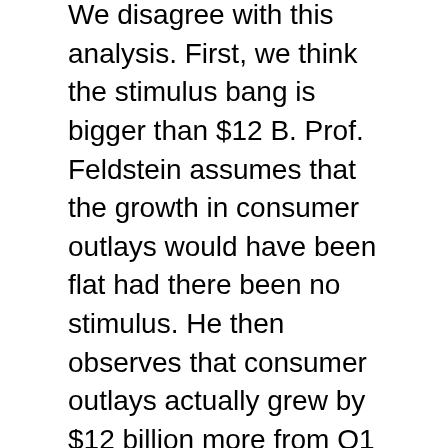We disagree with this analysis. First, we think the stimulus bang is bigger than $12 B. Prof. Feldstein assumes that the growth in consumer outlays would have been flat had there been no stimulus. He then observes that consumer outlays actually grew by $12 billion more from Q1 to Q2 than they did in the prior quarter, and attributes that to the stimulus. Many observers think that, without the stimulus, consumer outlays would have grown more slowly in Q2 than in Q1. If this is the case (and we believe it is), then the effect of the stimulus is bigger than $12 billion.
In addition, we have felt only part of the bang so far. The stimulus enacted in February will have ongoing impacts in the upcoming months. Almost all the cash to consumers is out the door, but the resulting boost in consumer spending has not yet reached its full effect. We anticipate that the past stimulus law is continuing to increase GDP in the 3rd quarter, with a diminishing